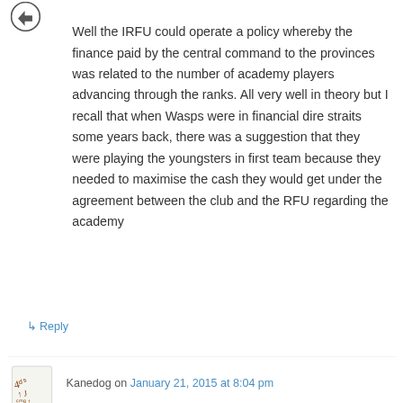[Figure (illustration): Small circular avatar icon with arrow/chat symbol in teal/dark color]
Well the IRFU could operate a policy whereby the finance paid by the central command to the provinces was related to the number of academy players advancing through the ranks. All very well in theory but I recall that when Wasps were in financial dire straits some years back, there was a suggestion that they were playing the youngsters in first team because they needed to maximise the cash they would get under the agreement between the club and the RFU regarding the academy
↳ Reply
[Figure (illustration): Small square avatar icon with abstract figure/dog illustration]
Kanedog on January 21, 2015 at 8:04 pm